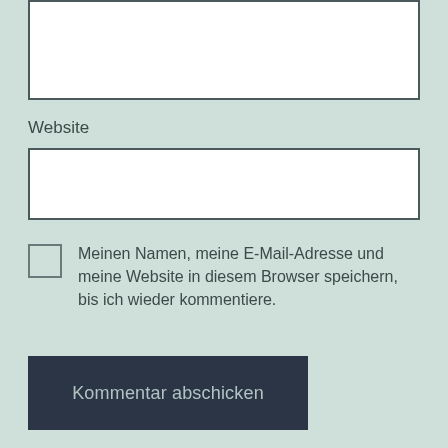[Figure (screenshot): Top portion of a text input box (partially visible at top of page), white background with dark border]
Website
[Figure (screenshot): Empty text input field for website URL, white background with dark border]
Meinen Namen, meine E-Mail-Adresse und meine Website in diesem Browser speichern, bis ich wieder kommentiere.
Kommentar abschicken